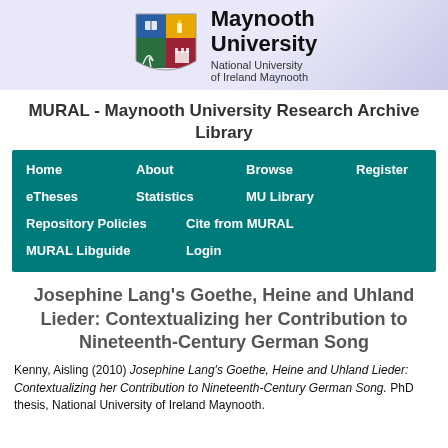[Figure (logo): Maynooth University logo with shield and university name]
MURAL - Maynooth University Research Archive Library
[Figure (screenshot): Navigation bar with links: Home, About, Browse, Register, eTheses, Statistics, MU Library, Repository Policies, Cite from MURAL, MURAL Libguide, Login]
Josephine Lang's Goethe, Heine and Uhland Lieder: Contextualizing her Contribution to Nineteenth-Century German Song
Kenny, Aisling (2010) Josephine Lang's Goethe, Heine and Uhland Lieder: Contextualizing her Contribution to Nineteenth-Century German Song. PhD thesis, National University of Ireland Maynooth.